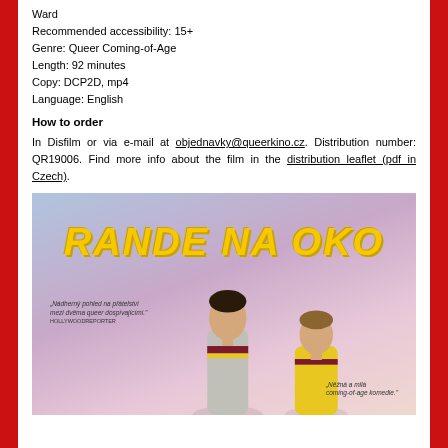Ward
Recommended accessibility: 15+
Genre: Queer Coming-of-Age
Length: 92 minutes
Copy: DCP2D, mp4
Language: English
How to order
In Disfilm or via e-mail at objednavky@queerkino.cz. Distribution number: QR19006. Find more info about the film in the distribution leaflet (pdf in Czech).
[Figure (photo): Film poster for 'Rande Na Oko' showing two young people (a man and a woman) against a gradient purple-pink sky background. Large yellow italic bold text reads 'RANDE NA OKO'. There are two small italic review quotes on the left and right sides of the poster.]